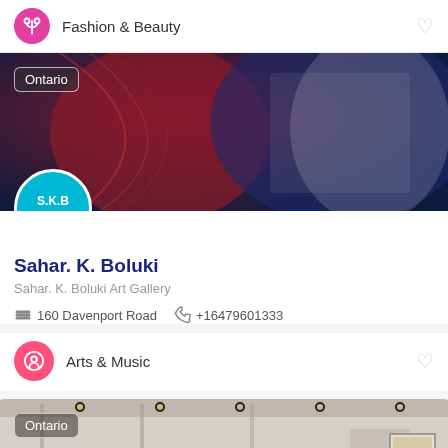Fashion & Beauty
[Figure (photo): Abstract art painting with blue and red tones, serving as banner for Sahar K. Boluki Art Gallery listing. Ontario tag overlay.]
Sahar. K. Boluki
Sahar. K. Boluki Art Gallery
160 Davenport Road  +16479601333
Arts & Music
[Figure (photo): Interior of an art gallery with track lighting on ceiling and framed artwork. Ontario tag overlay.]